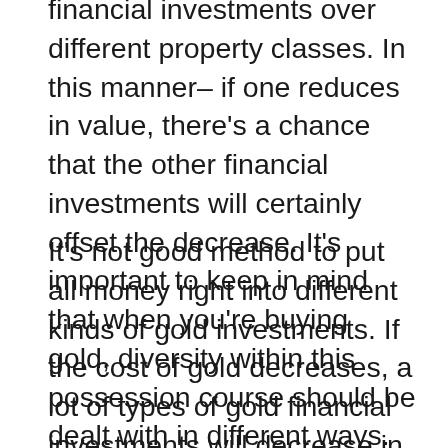financial investments over different property classes. In this manner– if one reduces in value, there's a chance that the other financial investments will certainly offset the decrease. It's important to keep in mind that when you're buying gold, diversity within this possession course should be dealt with in different ways.
It's not good method to put all money right into different kinds of gold investments. If the cost of gold decreases, a lot of types of gold financial investments will decrease in value accordingly. Nothing is specific in the investment globe. Whilst the quantity of gold is limited, a significant amount of maybe discovered tomorrow– dropping its worth.